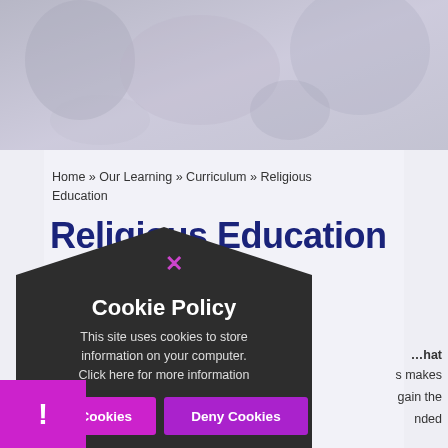[Figure (photo): Hero banner image showing students or school-related imagery, faded/light tones]
Home » Our Learning » Curriculum » Religious Education
Religious Education
Intent – We want to be Alex's
It ... explore that ... this makes ... gain the ... needed
[Figure (other): Cookie Policy modal overlay on dark rounded background with close X button, cookie policy title, body text, Allow Cookies and Deny Cookies buttons]
Cookie Policy
This site uses cookies to store information on your computer. Click here for more information